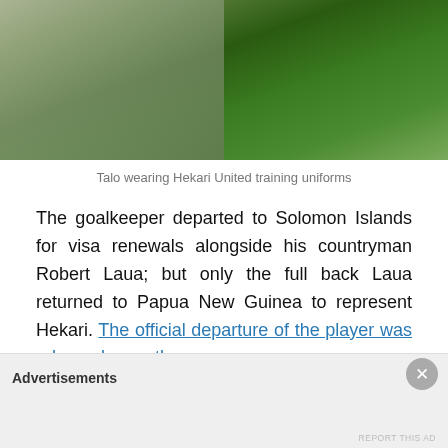[Figure (photo): Photo of Talo wearing Hekari United green training uniforms, cropped showing chest/torso area]
Talo wearing Hekari United training uniforms
The goalkeeper departed to Solomon Islands for visa renewals alongside his countryman Robert Laua; but only the full back Laua returned to Papua New Guinea to represent Hekari. The official departure of the player was released recently.
Oceania Football Center investigated and found out that the player decided to stay in Solomon Islands for family
Advertisements